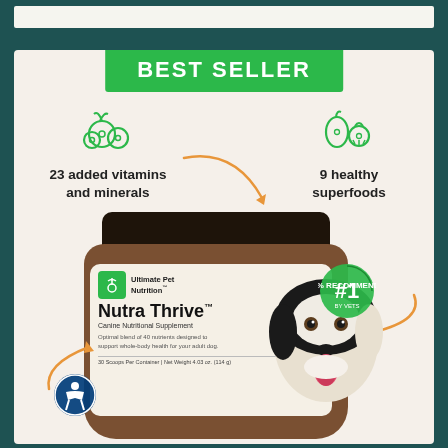[Figure (infographic): Product advertisement for Nutra Thrive Canine Nutritional Supplement by Ultimate Pet Nutrition. Shows 'BEST SELLER' green banner at top. Left side: green fruit/vegetable icon with text '23 added vitamins and minerals'. Right side: green fruit/vegetable icon with text '9 healthy superfoods'. Center: product jar (brown amber jar with white label showing Nutra Thrive branding, dog face on label, #1 badge). Orange curved arrows pointing to the jar. Bottom left: accessibility badge icon. Dark teal (#1e5252) border surrounds a light cream card.]